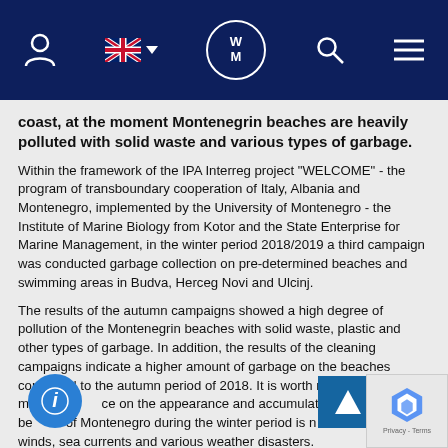WM website navigation bar with user icon, UK flag language selector, WM logo, search icon, and menu icon
coast, at the moment Montenegrin beaches are heavily polluted with solid waste and various types of garbage.
Within the framework of the IPA Interreg project "WELCOME" - the program of transboundary cooperation of Italy, Albania and Montenegro, implemented by the University of Montenegro - the Institute of Marine Biology from Kotor and the State Enterprise for Marine Management, in the winter period 2018/2019 a third campaign was conducted garbage collection on pre-determined beaches and swimming areas in Budva, Herceg Novi and Ulcinj.
The results of the autumn campaigns showed a high degree of pollution of the Montenegrin beaches with solid waste, plastic and other types of garbage. In addition, the results of the cleaning campaigns indicate a higher amount of garbage on the beaches compared to the autumn period of 2018. It is worth noting that the main influence on the appearance and accumulation of garbage on the beaches of Montenegro during the winter period is not tourism, but rivers, winds, sea currents and various weather disasters.